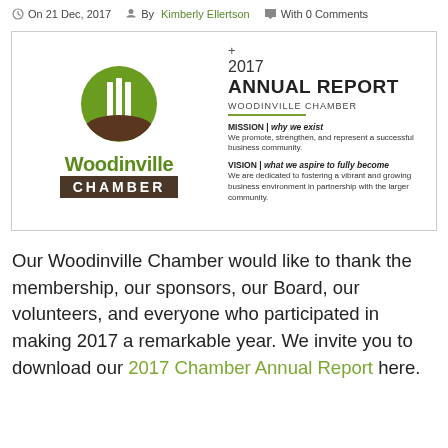On 21 Dec, 2017  By Kimberly Ellertson  With 0 Comments
[Figure (logo): Woodinville Chamber 2017 Annual Report cover with logo on left and mission/vision text on right]
Our Woodinville Chamber would like to thank the membership, our sponsors, our Board, our volunteers, and everyone who participated in making 2017 a remarkable year. We invite you to download our 2017 Chamber Annual Report here.